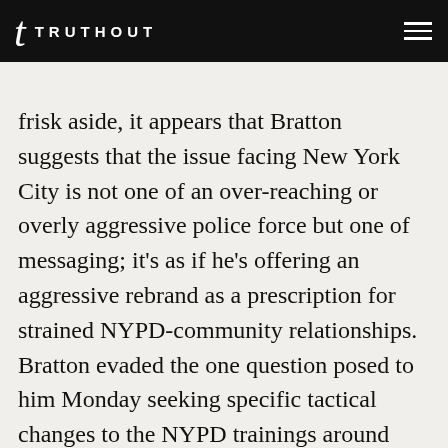TRUTHOUT
frisk aside, it appears that Bratton suggests that the issue facing New York City is not one of an over-reaching or overly aggressive police force but one of messaging; it’s as if he’s offering an aggressive rebrand as a prescription for strained NYPD-community relationships. Bratton evaded the one question posed to him Monday seeking specific tactical changes to the NYPD trainings around stop-and-frisk, answering only with a reiteration of his dedication to community policing, a term he has yet to publicly define.